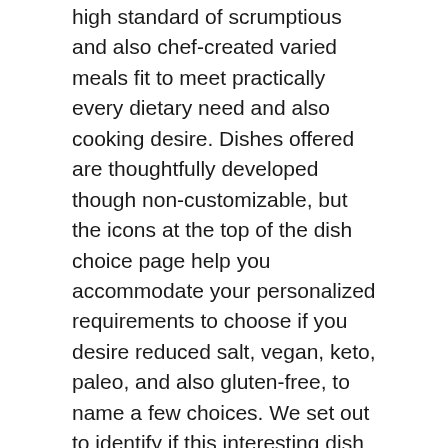CookUnity prides itself on its goal to supply a high standard of scrumptious and also chef-created varied meals fit to meet practically every dietary need and also cooking desire. Dishes offered are thoughtfully developed though non-customizable, but the icons at the top of the dish choice page help you accommodate your personalized requirements to choose if you desire reduced salt, vegan, keto, paleo, and also gluten-free, to name a few choices. We set out to identify if this interesting dish service can deliver on its promise.
What is CookUnity?
CookUnity was developed in 2015 by Mateo Marietti, who thought of the idea after